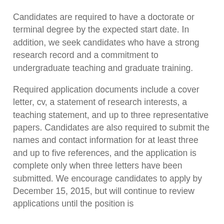Candidates are required to have a doctorate or terminal degree by the expected start date. In addition, we seek candidates who have a strong research record and a commitment to undergraduate teaching and graduate training.
Required application documents include a cover letter, cv, a statement of research interests, a teaching statement, and up to three representative papers. Candidates are also required to submit the names and contact information for at least three and up to five references, and the application is complete only when three letters have been submitted. We encourage candidates to apply by December 15, 2015, but will continue to review applications until the position is